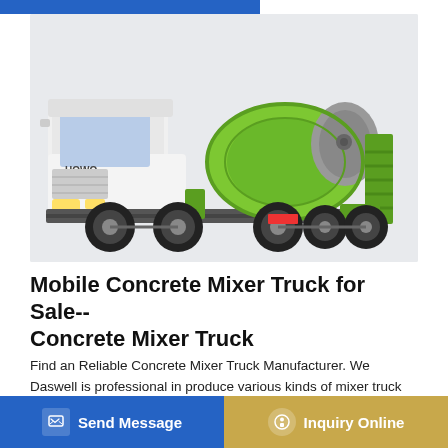[Figure (photo): A white and green concrete mixer truck (HOWO brand) with a large green and gray rotating drum on the back, photographed on a light gray background.]
Mobile Concrete Mixer Truck for Sale-- Concrete Mixer Truck
Find an Reliable Concrete Mixer Truck Manufacturer. We Daswell is professional in produce various kinds of mixer truck for sale for many years. What's more, we produce the mobile concrete mixer truck with high quality and dot the well-known brands such as which can confirm the machine can have staple
Send Message   Inquiry Online